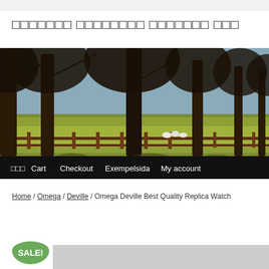□□□□□□□ □□□□□□□□ □□□□□□□ □□□
[Figure (photo): Outdoor park scene with large bare trees in a row, wooden fence, green grass, and sheep visible in background. Navigation bar at bottom with menu items: □□□, Cart, Checkout, Exempelsida, My account]
Home / Omega / Deville / Omega Deville Best Quality Replica Watch
SALE!